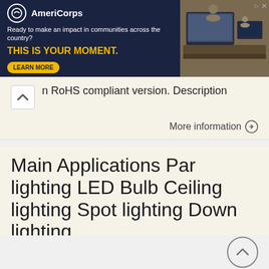[Figure (infographic): AmeriCorps advertisement banner with dark navy background. Logo, tagline 'Ready to make an impact in communities across the country?', headline 'THIS IS YOUR MOMENT.', and LEARN MORE button. Right side shows a photo of people at computers.]
n RoHS compliant version. Description
More information →
Main Applications Par lighting LED Bulb Ceiling lighting Spot lighting Down lighting
ProLight PACE-21FxL-xC3P 21W COB Light-Engine LEDs Technical Datasheet Version: 1.4 Features High flux densit of lighting source Good color uniformit RoHS compliant Energ Star binning structure, neutral
[Figure (screenshot): Thumbnail image of a technical datasheet document with yellow/gold header bar and blue footer bar, showing text content lines.]
More information →